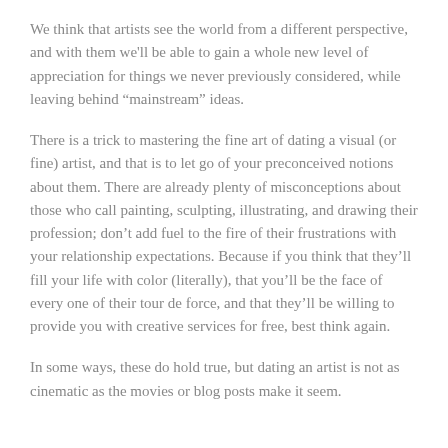We think that artists see the world from a different perspective, and with them we'll be able to gain a whole new level of appreciation for things we never previously considered, while leaving behind “mainstream” ideas.
There is a trick to mastering the fine art of dating a visual (or fine) artist, and that is to let go of your preconceived notions about them. There are already plenty of misconceptions about those who call painting, sculpting, illustrating, and drawing their profession; don’t add fuel to the fire of their frustrations with your relationship expectations. Because if you think that they’ll fill your life with color (literally), that you’ll be the face of every one of their tour de force, and that they’ll be willing to provide you with creative services for free, best think again.
In some ways, these do hold true, but dating an artist is not as cinematic as the movies or blog posts make it seem.